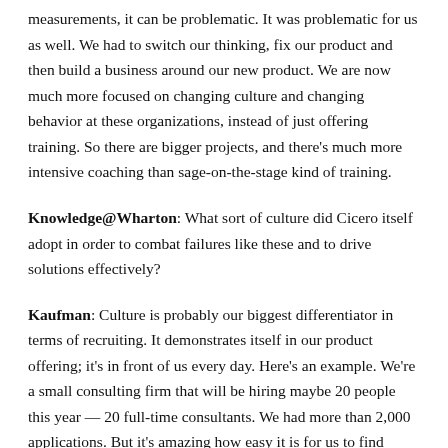measurements, it can be problematic. It was problematic for us as well. We had to switch our thinking, fix our product and then build a business around our new product. We are now much more focused on changing culture and changing behavior at these organizations, instead of just offering training. So there are bigger projects, and there's much more intensive coaching than sage-on-the-stage kind of training.
Knowledge@Wharton: What sort of culture did Cicero itself adopt in order to combat failures like these and to drive solutions effectively?
Kaufman: Culture is probably our biggest differentiator in terms of recruiting. It demonstrates itself in our product offering; it's in front of us every day. Here's an example. We're a small consulting firm that will be hiring maybe 20 people this year — 20 full-time consultants. We had more than 2,000 applications. But it's amazing how easy it is for us to find awesome, amazing new talent. You don't hear that from other firms. I think our culture is a